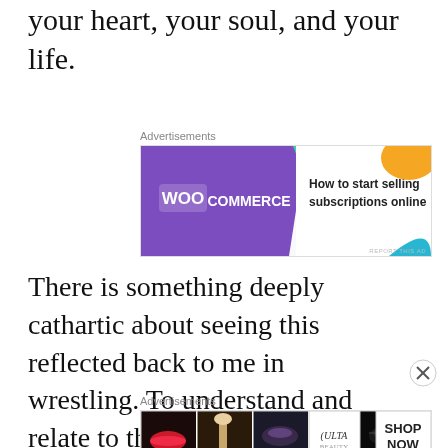your heart, your soul, and your life.
[Figure (other): WooCommerce advertisement banner: purple background with WooCommerce logo on left, green triangle and orange/blue accent shapes on right with text 'How to start selling subscriptions online']
There is something deeply cathartic about seeing this reflected back to me in wrestling. To understand and relate to the struggle of this character, to know that he can be the best, can overcome his demons. And if Hangman can do it – if Hangman can
[Figure (other): Ulta Beauty advertisement banner showing makeup/beauty product collage images with Ulta logo and 'SHOP NOW' button]